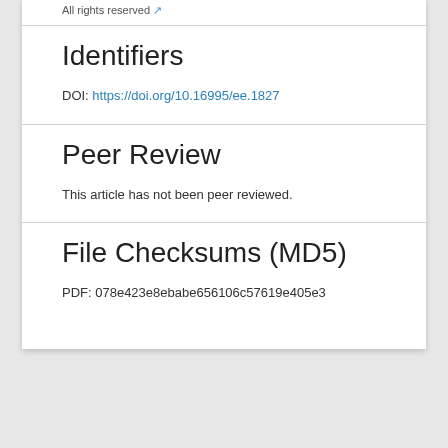All rights reserved
Identifiers
DOI: https://doi.org/10.16995/ee.1827
Peer Review
This article has not been peer reviewed.
File Checksums (MD5)
PDF: 078e423e8ebabe656106c57619e405e3